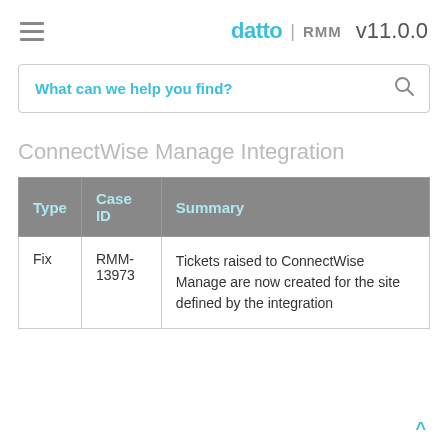datto | RMM v11.0.0
What can we help you find?
ConnectWise Manage Integration
| Type | Case ID | Summary |
| --- | --- | --- |
| Fix | RMM-13973 | Tickets raised to ConnectWise Manage are now created for the site defined by the integration |